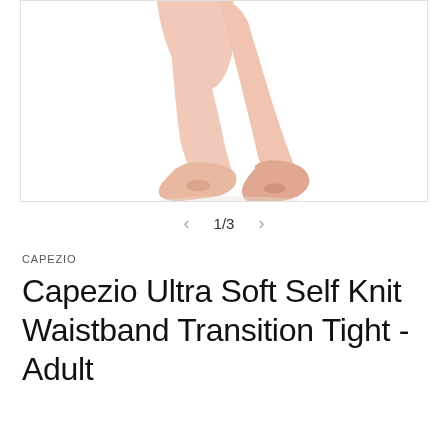[Figure (photo): Close-up of crossed ballet dancer legs and feet wearing light pink/nude ballet slippers on a white background, cropped at approximately knee height]
1/3
CAPEZIO
Capezio Ultra Soft Self Knit Waistband Transition Tight - Adult